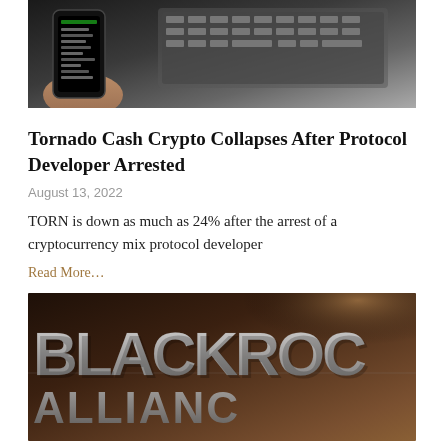[Figure (photo): A hand holding a smartphone showing cryptocurrency data on the screen, with a laptop keyboard visible in the background. Dark background.]
Tornado Cash Crypto Collapses After Protocol Developer Arrested
August 13, 2022
TORN is down as much as 24% after the arrest of a cryptocurrency mix protocol developer
Read More…
[Figure (photo): Close-up of a BlackRock metallic sign/logo with large chrome 3D letters spelling BLACKROCK, with warm bokeh lighting in the background.]